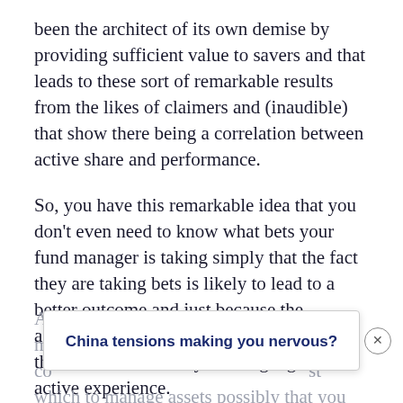been the architect of its own demise by providing sufficient value to savers and that leads to these sort of remarkable results from the likes of claimers and (inaudible) that show there being a correlation between active share and performance.
So, you have this remarkable idea that you don't even need to know what bets your fund manager is taking simply that the fact they are taking bets is likely to lead to a better outcome and just because the aggregate statistics are dragged down by those who are actually offering a genuine active experience.
At the same time, though, the passive man[agement industry has] [been] [guilty] of co[mpetition on costs, minimising co]st which to manage assets possibly that you can't
China tensions making you nervous?